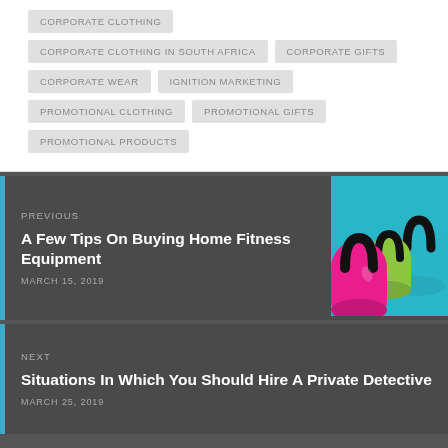CORPORATE CLOTHING
CORPORATE CLOTHING IN SOUTH AFRICA
CORPORATE GIFTS
CORPORATE WEAR
IGNITION MARKETING
PROMOTIONAL CLOTHING
PROMOTIONAL GIFTS
PROMOTIONAL PRODUCTS
PREVIOUS
A Few Tips On Buying Home Fitness Equipment
MARCH 15, 2019
[Figure (photo): Colorful kettlebells (pink, green, and blue) arranged in a row on a blue background]
NEXT
Situations In Which You Should Hire A Private Detective
MARCH 25, 2019